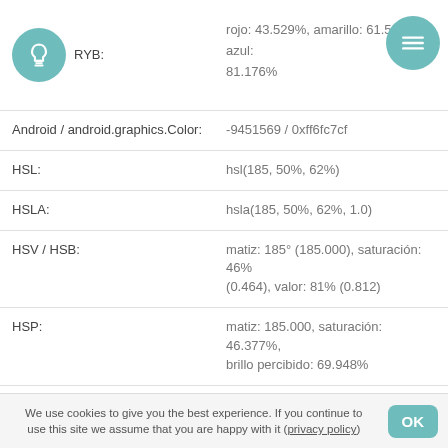| Property | Value |
| --- | --- |
| RYB: | rojo: 43.529%, amarillo: 61.535%, azul: 81.176% |
| Android / android.graphics.Color: | -9451569 / 0xff6fc7cf |
| HSL: | hsl(185, 50%, 62%) |
| HSLA: | hsla(185, 50%, 62%, 1.0) |
| HSV / HSB: | matiz: 185° (185.000), saturación: 46% (0.464), valor: 81% (0.812) |
| HSP: | matiz: 185.000, saturación: 46.377%, brillo percibido: 69.948% |
| HSLuv (HUSL): | H: 201.189, S: 68.469, L: 75.282 |
| Cubehelix: | H: -183.197, S: 0.679, L: 0.680 |
| TSL: | T: -1.573, S: 0.174, L: 0.681 |
We use cookies to give you the best experience. If you continue to use this site we assume that you are happy with it (privacy policy)